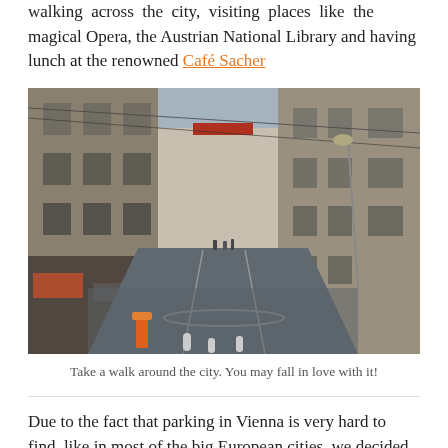walking across the city, visiting places like the magical Opera, the Austrian National Library and having lunch at the renowned Café Sacher
[Figure (photo): Street-level view of a Viennese alley with historic stone buildings on both sides, tram tracks curving along the wet road, people visible in the distance, and a cloudy sky overhead.]
Take a walk around the city. You may fall in love with it!
Due to the fact that parking in Vienna is very hard to find, like in most of the big European cities, we decided to leave